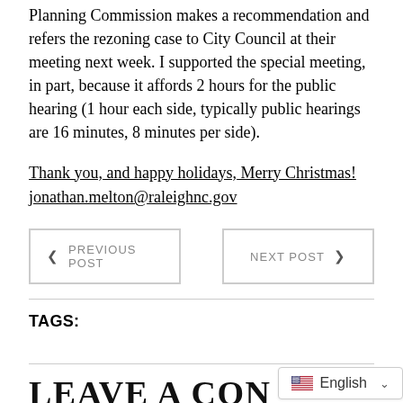Planning Commission makes a recommendation and refers the rezoning case to City Council at their meeting next week. I supported the special meeting, in part, because it affords 2 hours for the public hearing (1 hour each side, typically public hearings are 16 minutes, 8 minutes per side).
Thank you, and happy holidays, Merry Christmas!
jonathan.melton@raleighnc.gov
PREVIOUS POST | NEXT POST
TAGS:
LEAVE A CO...